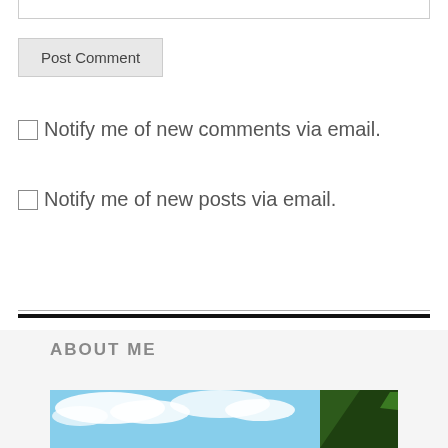Post Comment
Notify me of new comments via email.
Notify me of new posts via email.
ABOUT ME
[Figure (photo): Outdoor photo showing a blue sky with white clouds and a dark green coniferous tree on the right side]